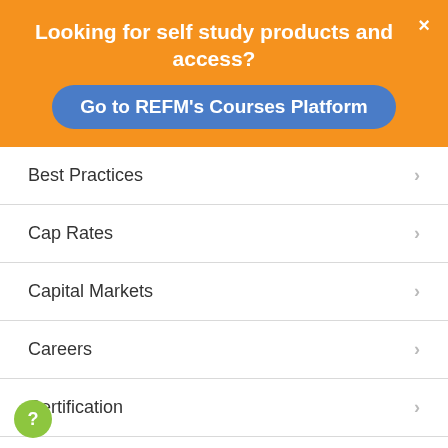Looking for self study products and access?
Go to REFM's Courses Platform
Best Practices
Cap Rates
Capital Markets
Careers
Certification
CMBS
Commercial Leases